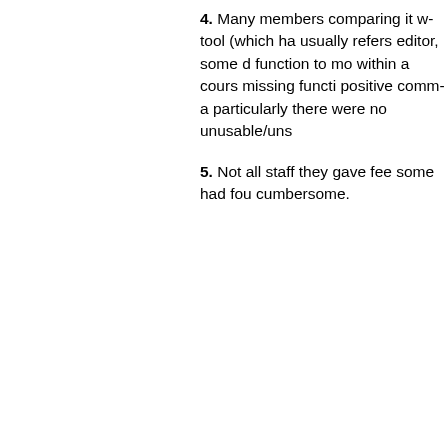4. Many members compared it with a tool (which has usually refers to an editor, some described a function to move files within a course), missing functionality, positive comments, a particularly good, there were no unusable/uns...
5. Not all staff gave feedback, they gave feedback, some had found cumbersome.